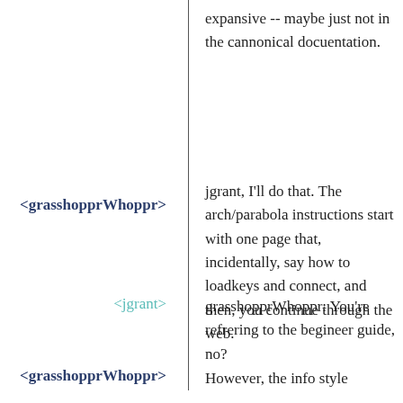expansive -- maybe just not in the cannonical docuentation.
<grasshopprWhoppr>
jgrant, I'll do that. The arch/parabola instructions start with one page that, incidentally, say how to loadkeys and connect, and then, you continue through the web.
<jgrant>
grasshopprWhoppr: You're refrering to the begineer guide, no?
<grasshopprWhoppr>
However, the info style